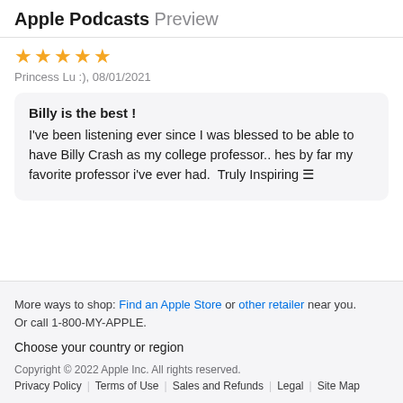Apple Podcasts Preview
Princess Lu :), 08/01/2021
Billy is the best !
I've been listening ever since I was blessed to be able to have Billy Crash as my college professor.. hes by far my favorite professor i've ever had. Truly Inspiring 🟰
More ways to shop: Find an Apple Store or other retailer near you. Or call 1-800-MY-APPLE.
Choose your country or region
Copyright © 2022 Apple Inc. All rights reserved.
Privacy Policy | Terms of Use | Sales and Refunds | Legal | Site Map